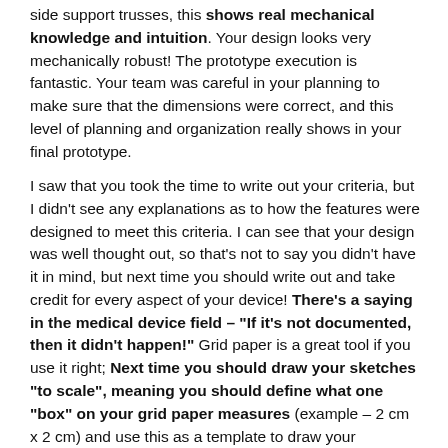side support trusses, this shows real mechanical knowledge and intuition. Your design looks very mechanically robust! The prototype execution is fantastic. Your team was careful in your planning to make sure that the dimensions were correct, and this level of planning and organization really shows in your final prototype.
I saw that you took the time to write out your criteria, but I didn't see any explanations as to how the features were designed to meet this criteria. I can see that your design was well thought out, so that's not to say you didn't have it in mind, but next time you should write out and take credit for every aspect of your device! There's a saying in the medical device field – "If it's not documented, then it didn't happen!" Grid paper is a great tool if you use it right; Next time you should draw your sketches "to scale", meaning you should define what one "box" on your grid paper measures (example – 2 cm x 2 cm) and use this as a template to draw your components (a part is 10 cm long, it will take up 5 boxes by this scale). It's not necessary, but it really makes visualizing your final concept and keeps a fine-tuned eye on your components.